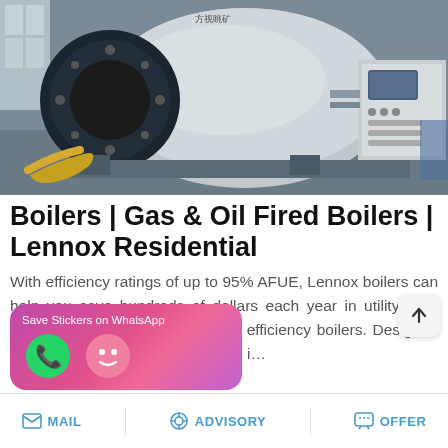[Figure (photo): Industrial gas/oil fired boiler in a factory setting, large cylindrical silver boiler with black front cap, connected to a gray control panel on the right, yellow hoses visible on the lower left, warehouse windows in background.]
Boilers | Gas & Oil Fired Boilers | Lennox Residential
With efficiency ratings of up to 95% AFUE, Lennox boilers can help you save hundreds of dollars each year in utility bills, compared to older and standard- efficiency boilers. Designed for easy installation, and available i…
[Figure (screenshot): Save Stickers on WhatsApp banner — pink/purple gradient rounded rectangle with WhatsApp phone icon (green circle) and a sticker/emoji icon (pink circle).]
MAIL   ADVISORY   OFFER